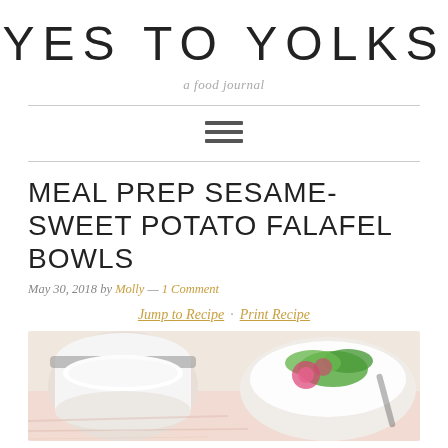YES TO YOLKS
a food journal
MEAL PREP SESAME-SWEET POTATO FALAFEL BOWLS
May 30, 2018 by Molly — 1 Comment
Jump to Recipe · Print Recipe
[Figure (photo): Photo of a jar of white cream sauce and a bowl of salad with pink flowers and green arugula on a pink cloth background]